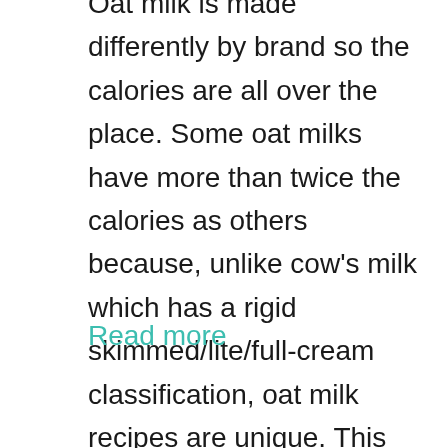Oat milk is made differently by brand so the calories are all over the place. Some oat milks have more than twice the calories as others because, unlike cow's milk which has a rigid skimmed/lite/full-cream classification, oat milk recipes are unique. This makes a calorie counter's job a bit harder …
Read more